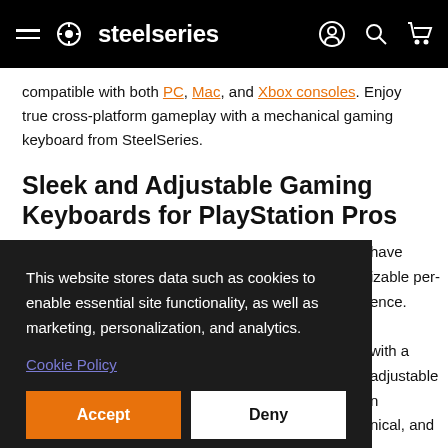steelseries
compatible with both PC, Mac, and Xbox consoles. Enjoy true cross-platform gameplay with a mechanical gaming keyboard from SteelSeries.
Sleek and Adjustable Gaming Keyboards for PlayStation Pros
This website stores data such as cookies to enable essential site functionality, as well as marketing, personalization, and analytics.
Cookie Policy
Accept  Deny
have izable per- ence. with a adjustable n nical, and
SteelSeries Gaming Keyboards for